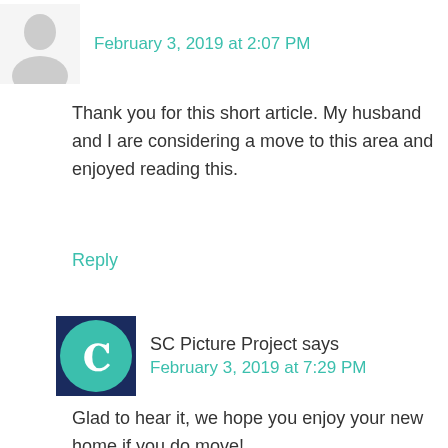February 3, 2019 at 2:07 PM
Thank you for this short article. My husband and I are considering a move to this area and enjoyed reading this.
Reply
SC Picture Project says
February 3, 2019 at 7:29 PM
Glad to hear it, we hope you enjoy your new home if you do move!